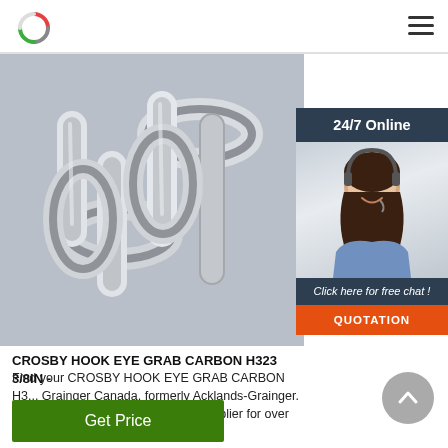[Figure (logo): Circular logo with red and green arc]
[Figure (photo): Close-up photo of stainless steel chain links]
[Figure (photo): 24/7 Online chat widget with woman wearing headset]
CROSBY HOOK EYE GRAB CARBON H323 3/8IN -
Find your CROSBY HOOK EYE GRAB CARBON H3... Grainger Canada, formerly Acklands-Grainger. W... Canada's premiere industrial supplier for over 1... superior service and quality.
[Figure (other): Green 'Get Price' button]
[Figure (other): Grey circular back-to-top arrow button]